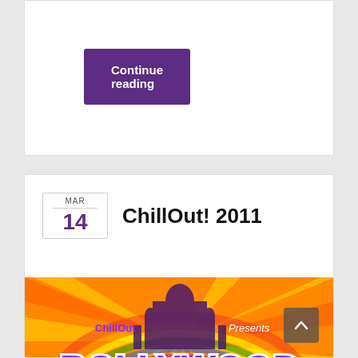Continue reading
ChillOut! 2011
[Figure (illustration): Bollywood in the Bush event poster by ChillOut. Colorful illustrated banner with rainbow rays, Taj Mahal silhouette, large decorative text 'BOLLYWOOD IN THE BUSH' in purple and white, cartoon characters dancing, and a city skyline silhouette in red at the bottom.]